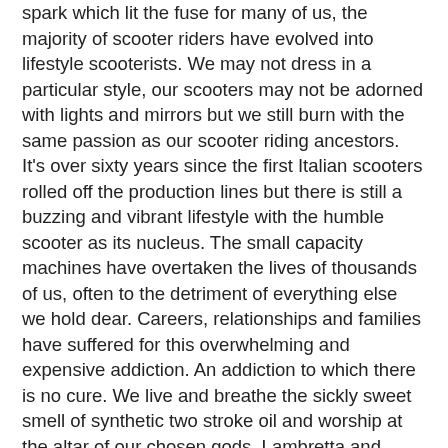spark which lit the fuse for many of us, the majority of scooter riders have evolved into lifestyle scooterists. We may not dress in a particular style, our scooters may not be adorned with lights and mirrors but we still burn with the same passion as our scooter riding ancestors. It's over sixty years since the first Italian scooters rolled off the production lines but there is still a buzzing and vibrant lifestyle with the humble scooter as its nucleus. The small capacity machines have overtaken the lives of thousands of us, often to the detriment of everything else we hold dear. Careers, relationships and families have suffered for this overwhelming and expensive addiction. An addiction to which there is no cure. We live and breathe the sickly sweet smell of synthetic two stroke oil and worship at the altar of our chosen gods, Lambretta and Vespa (or occasionally Gilera and Italjet). Our hands are permanently ingrained with the oily 'tattoo's' of a thousand engine rebuilds and our major organs have suffered the long term effects of our hedonistic lifestyle. Including interviews with well known Scootering personalities, over 150 colour photographs of award winning custom scooters, best selling scooter models, rallies and events. This book is a must have for anyone interested in